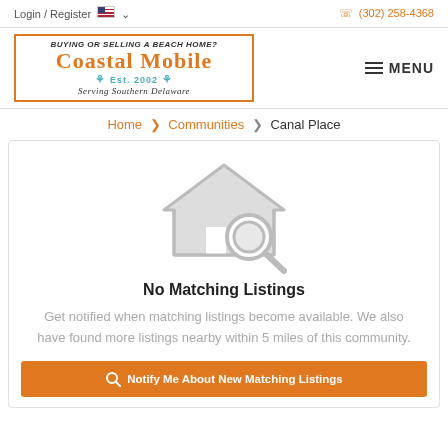Login / Register  (302) 258-4368
[Figure (logo): Coastal Mobile real estate logo with orange border, text 'Buying or Selling a Beach Home? Coastal Mobile Est. 2002 Serving Southern Delaware']
Home > Communities > Canal Place
No Matching Listings
Get notified when matching listings become available. We also have found more listings nearby within 5 miles of this community.
Notify Me About New Matching Listings